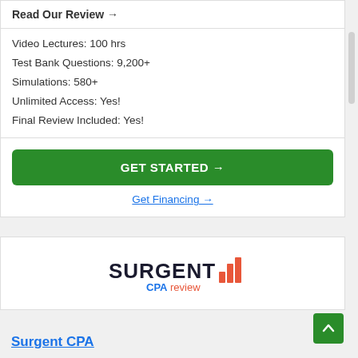Read Our Review →
Video Lectures: 100 hrs
Test Bank Questions: 9,200+
Simulations: 580+
Unlimited Access: Yes!
Final Review Included: Yes!
GET STARTED →
Get Financing →
[Figure (logo): Surgent CPA Review logo with dark navy SURGENT text, orange bar chart icon, and blue/orange CPAreview text below]
Surgent CPA